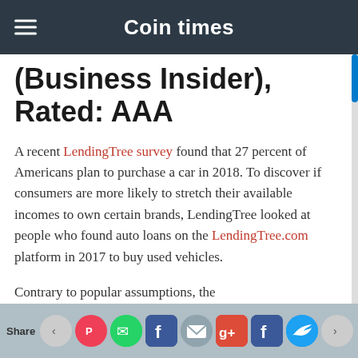Coin times
(Business Insider), Rated: AAA
A recent LendingTree survey found that 27 percent of Americans plan to purchase a car in 2018. To discover if consumers are more likely to stretch their available incomes to own certain brands, LendingTree looked at people who found auto loans on the LendingTree.com platform in 2017 to buy used vehicles.
Contrary to popular assumptions, the
Share